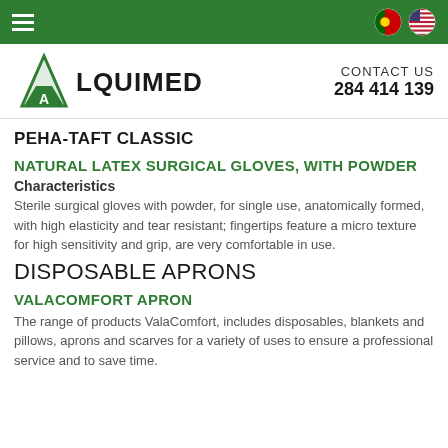Navigation bar with hamburger menu and flags (Portuguese, US)
[Figure (logo): Alquimed logo: green flask/triangle icon with 'A' inside, text ALQUIMED]
CONTACT US
284 414 139
PEHA-TAFT CLASSIC
NATURAL LATEX SURGICAL GLOVES, WITH POWDER
Characteristics
Sterile surgical gloves with powder, for single use, anatomically formed, with high elasticity and tear resistant; fingertips feature a micro texture for high sensitivity and grip, are very comfortable in use.
DISPOSABLE APRONS
VALACOMFORT APRON
The range of products ValaComfort, includes disposables, blankets and pillows, aprons and scarves for a variety of uses to ensure a professional service and to save time.